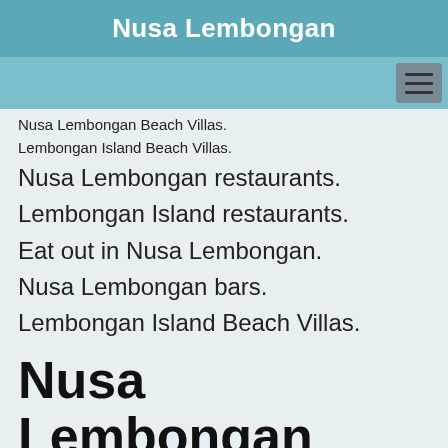Nusa Lembongan
Nusa Lembongan Beach Villas.
Lembongan Island Beach Villas.
Nusa Lembongan restaurants.
Lembongan Island restaurants.
Eat out in Nusa Lembongan.
Nusa Lembongan bars.
Lembongan Island Beach Villas.
Nusa Lembongan restaurant and bar
Nusa Lembongan Hotels. Lembongan hotels. Nusa Lembongan accommodation. Lembongan accommodation. Nusa Lembongan backpackers. Lembongan backpackers. Nusa Lembongan Hotels. Lembongan hotels. Nusa Lembongan accommodation. Lembongan accommodation. Nusa Lembongan backpackers. Lembongan backpackers. Nusa lembongan.